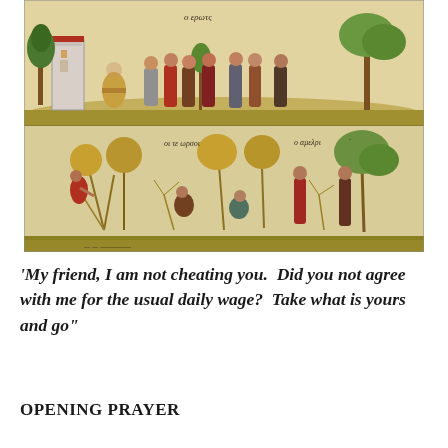[Figure (illustration): Medieval illuminated manuscript illustration showing two scenes: top scene depicts a seated figure (landowner/master) with workers being hired in a vineyard with stylized trees; bottom scene shows workers laboring among plants and trees in a harvest/vineyard setting. Byzantine style artwork with Greek text annotations.]
‘My friend, I am not cheating you.  Did you not agree with me for the usual daily wage?  Take what is yours and go”
OPENING PRAYER